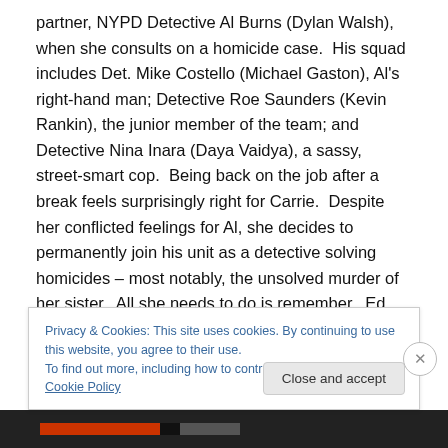partner, NYPD Detective Al Burns (Dylan Walsh), when she consults on a homicide case.  His squad includes Det. Mike Costello (Michael Gaston), Al's right-hand man; Detective Roe Saunders (Kevin Rankin), the junior member of the team; and Detective Nina Inara (Daya Vaidya), a sassy, street-smart cop.  Being back on the job after a break feels surprisingly right for Carrie.  Despite her conflicted feelings for Al, she decides to permanently join his unit as a detective solving homicides – most notably, the unsolved murder of her sister.  All she needs to do is remember.  Ed Redlich, John Bellucci, Sarah Timberman
Privacy & Cookies: This site uses cookies. By continuing to use this website, you agree to their use.
To find out more, including how to control cookies, see here: Cookie Policy